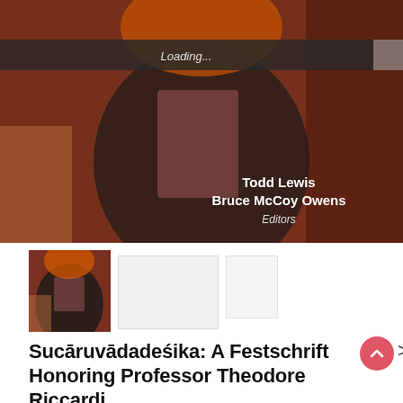[Figure (photo): Large book cover photo showing a man wearing a dark vest and pink striped shirt with an orange scarf, photographed at an outdoor event. A semi-transparent dark loading bar overlays the top portion with the text 'Loading...'. The names 'Todd Lewis' and 'Bruce McCoy Owens' appear as editors in white bold text, with 'Editors' in italic below.]
[Figure (photo): Small thumbnail of the same book cover photo — a man smiling at an outdoor event.]
[Figure (other): Large blank/placeholder thumbnail rectangle.]
[Figure (other): Small blank/placeholder thumbnail rectangle.]
Sucāruvādadeśika: A Festschrift Honoring Professor Theodore Riccardi